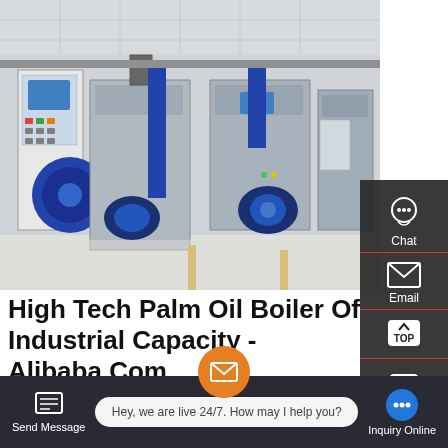[Figure (photo): Industrial boiler room with multiple large oil/gas fired steam boilers, blue piping and control panels, in a clean white-walled facility]
High Tech Palm Oil Boiler Of Industrial Capacity - Alibaba.Com
Prefly best palm oil boiler fired price diesel boiler price for industrial oil-fired steam once ugh $3,000.00-$15,000.00 /
[Figure (screenshot): Right sidebar with Chat, Email, TOP, and Contact icons on dark background]
[Figure (screenshot): Bottom navigation bar with Send Message, live chat bubble 'Hey, we are live 24/7. How may I help you?', and Inquiry Online button]